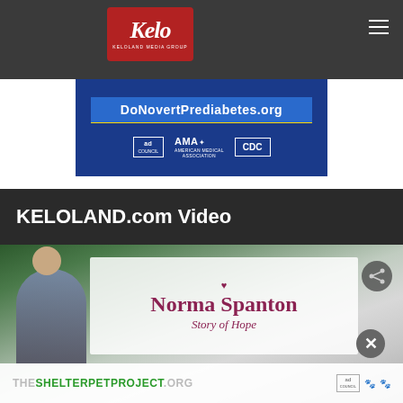[Figure (logo): KELOLAND Media Group logo — white italic Kelo script on red background, with text KELOLAND MEDIA GROUP below]
[Figure (infographic): Blue ad banner with URL donovertprediabetes.org in blue button, plus ad council, AMA, and CDC logos]
KELOLAND.com Video
[Figure (screenshot): Video player showing Norma Spanton Story of Hope presentation with share and close buttons, and a Shelter Pet Project ad overlay at the bottom]